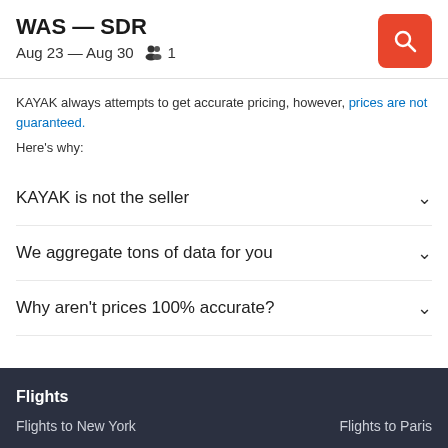WAS — SDR
Aug 23 — Aug 30  👥 1
KAYAK always attempts to get accurate pricing, however, prices are not guaranteed.
Here's why:
KAYAK is not the seller
We aggregate tons of data for you
Why aren't prices 100% accurate?
Flights
Flights to New York
Flights to Paris